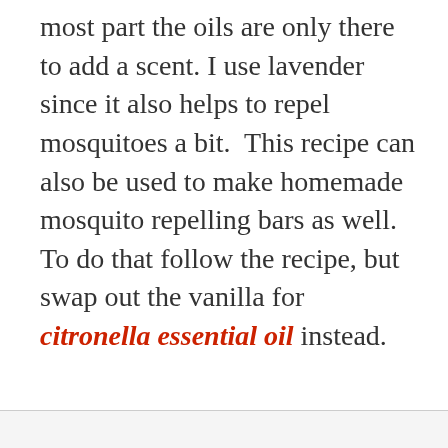most part the oils are only there to add a scent. I use lavender since it also helps to repel mosquitoes a bit.  This recipe can also be used to make homemade mosquito repelling bars as well. To do that follow the recipe, but swap out the vanilla for citronella essential oil instead.